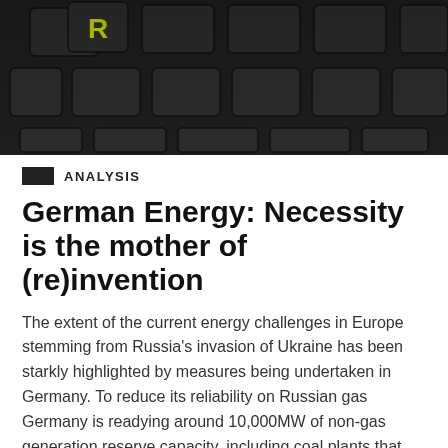[Figure (photo): Close-up photo of dark keyboard keys, one key showing yellow/green letters 'R' visible at top, dark grey keys on black background]
ANALYSIS
German Energy: Necessity is the mother of (re)invention
The extent of the current energy challenges in Europe stemming from Russia's invasion of Ukraine has been starkly highlighted by measures being undertaken in Germany. To reduce its reliability on Russian gas Germany is readying around 10,000MW of non-gas generation reserve capacity, including coal plants that were slated for closure. We take a look at the measures and the potential impact of diverging from its coal phase-out strategy.